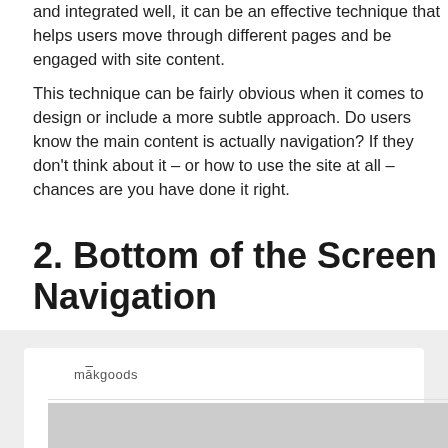and integrated well, it can be an effective technique that helps users move through different pages and be engaged with site content.
This technique can be fairly obvious when it comes to design or include a more subtle approach. Do users know the main content is actually navigation? If they don't think about it – or how to use the site at all – chances are you have done it right.
2. Bottom of the Screen Navigation
[Figure (screenshot): Bottom portion of a makgoods website screenshot showing logo bar and photo strip at bottom of page]